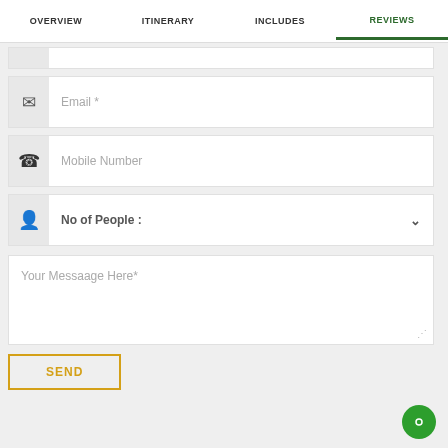OVERVIEW  ITINERARY  INCLUDES  REVIEWS
[Figure (screenshot): Web form with navigation tabs (OVERVIEW, ITINERARY, INCLUDES, REVIEWS active), input fields for Email, Mobile Number, No of People dropdown, a message textarea, and a SEND button. A green chat bubble appears bottom right.]